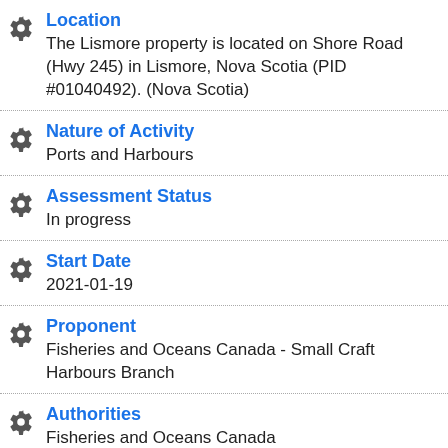Location
The Lismore property is located on Shore Road (Hwy 245) in Lismore, Nova Scotia (PID #01040492). (Nova Scotia)
Nature of Activity
Ports and Harbours
Assessment Status
In progress
Start Date
2021-01-19
Proponent
Fisheries and Oceans Canada - Small Craft Harbours Branch
Authorities
Fisheries and Oceans Canada
Assessment Type
Project on federal lands
Reference Number